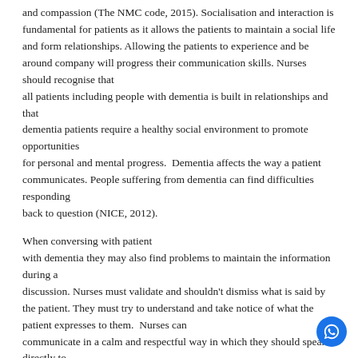and compassion (The NMC code, 2015). Socialisation and interaction is fundamental for patients as it allows the patients to maintain a social life and form relationships. Allowing the patients to experience and be around company will progress their communication skills. Nurses should recognise that all patients including people with dementia is built in relationships and that dementia patients require a healthy social environment to promote opportunities for personal and mental progress.  Dementia affects the way a patient communicates. People suffering from dementia can find difficulties responding back to question (NICE, 2012).
When conversing with patient with dementia they may also find problems to maintain the information during a discussion. Nurses must validate and shouldn't dismiss what is said by the patient. They must try to understand and take notice of what the patient expresses to them.  Nurses can communicate in a calm and respectful way in which they should speak directly to the patient. It can be frustrating for a patient with dementia to